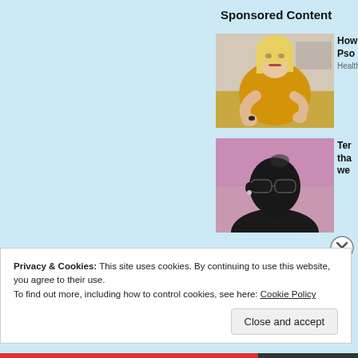Sponsored Content
[Figure (photo): Woman in yellow sweater scratching her arm, seated on a couch]
How
Pso
Health
[Figure (photo): Man wearing sunglasses, dark-skinned, looking upward]
Ter
tha
we
Privacy & Cookies: This site uses cookies. By continuing to use this website, you agree to their use.
To find out more, including how to control cookies, see here: Cookie Policy
Close and accept